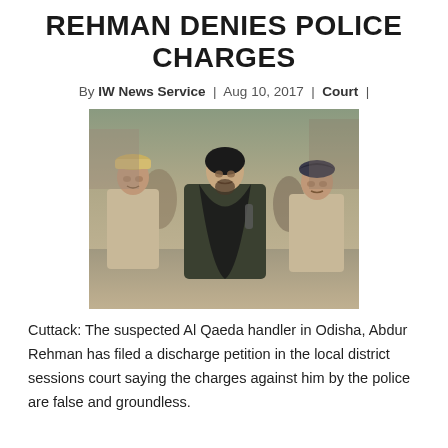REHMAN DENIES POLICE CHARGES
By IW News Service | Aug 10, 2017 | Court |
[Figure (photo): Photo of a man in dark clothing surrounded by police officers in khaki uniforms and berets, being escorted in an outdoor setting.]
Cuttack: The suspected Al Qaeda handler in Odisha, Abdur Rehman has filed a discharge petition in the local district sessions court saying the charges against him by the police are false and groundless.